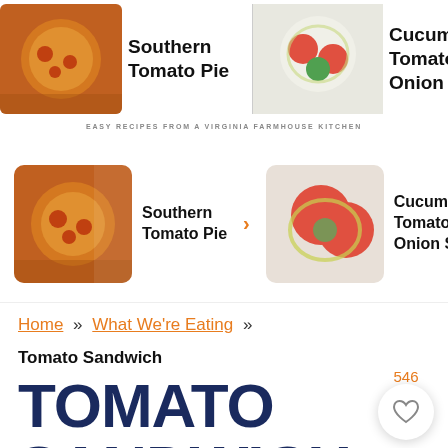Southern Tomato Pie | Cucumber Tomato Onion Salad | BLT Sandwich with Basil
EASY RECIPES FROM A VIRGINIA FARMHOUSE KITCHEN
[Figure (photo): Carousel of recipe thumbnails: Southern Tomato Pie, Cucumber Tomato Onion Salad, BLT Sandwich with Basil]
Home » What We're Eating »
Tomato Sandwich
TOMATO SANDWICH
Published: Jul 21, 2022 by Blair Lonergan